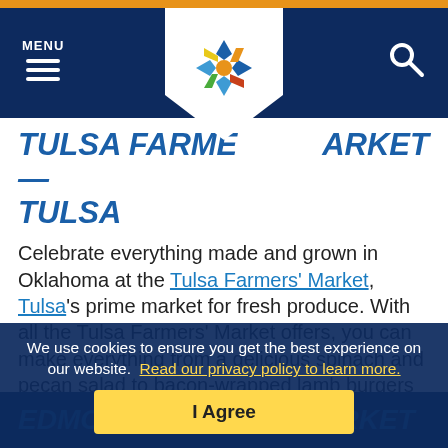MENU [hamburger icon] [logo] [search icon]
TULSA FARMERS' MARKET — TULSA
Celebrate everything made and grown in Oklahoma at the Tulsa Farmers' Market, Tulsa's prime market for fresh produce. With all the Tulsa Farmers' Market offers, you can make everything from a delicious spinach and pecan salad to bacon-wrapped lamb burgers with what you find. Don't forget to pick up a jar of honey, a few nursery plants for your house and some artisan bakery products while you visit their festival-like atmosphere.
We use cookies to ensure you get the best experience on our website. Read our privacy policy to learn more.
I Agree
EDMOND FARMERS MARKET